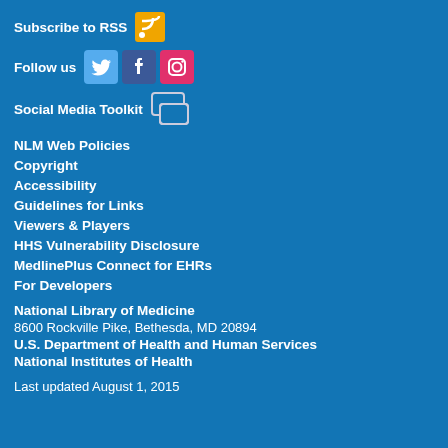Subscribe to RSS
Follow us
Social Media Toolkit
NLM Web Policies
Copyright
Accessibility
Guidelines for Links
Viewers & Players
HHS Vulnerability Disclosure
MedlinePlus Connect for EHRs
For Developers
National Library of Medicine
8600 Rockville Pike, Bethesda, MD 20894
U.S. Department of Health and Human Services
National Institutes of Health
Last updated August 1, 2015